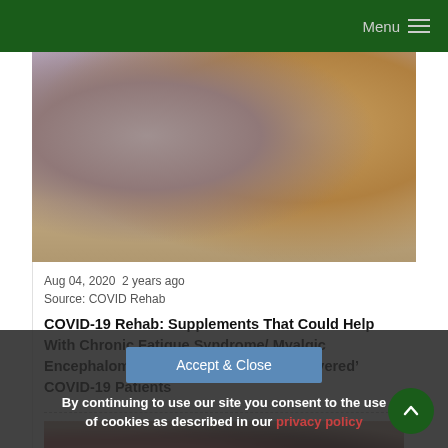Menu
[Figure (photo): Woman looking at scattered pills and supplement bottles on a table]
Aug 04, 2020  2 years ago
Source: COVID Rehab
COVID-19 Rehab: Supplements That Could Help With Chronic Fatigue Syndrome/ Myalgic Encephalomyelitis Manifesting In ‘Recovered’ COVID-19 Patients
[Figure (photo): COVID-19 virus illustration with red spiky coronavirus particles]
By continuing to use our site you consent to the use of cookies as described in our privacy policy